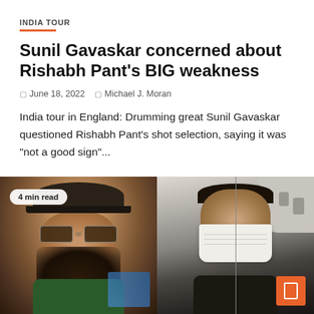INDIA TOUR
Sunil Gavaskar concerned about Rishabh Pant's BIG weakness
June 18, 2022   Michael J. Moran
India tour in England: Drumming great Sunil Gavaskar questioned Rishabh Pant's shot selection, saying it was "not a good sign"...
[Figure (photo): Two-panel photo: Left panel shows a bearded man wearing a dark cap and sunglasses taking a selfie indoors with a screen in background. Right panel shows a man wearing a white face mask taking a selfie on an airplane. An orange button with a white icon is visible in the bottom-right corner. A '4 min read' badge is overlaid on the left panel.]